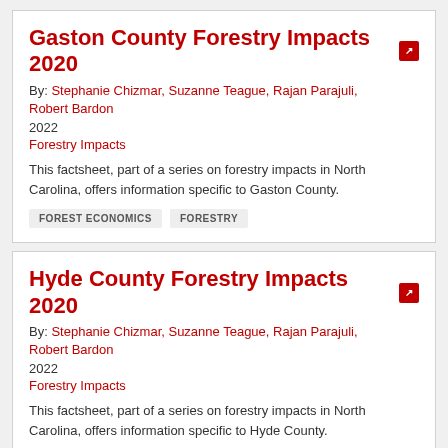Gaston County Forestry Impacts 2020
By: Stephanie Chizmar, Suzanne Teague, Rajan Parajuli, Robert Bardon
2022
Forestry Impacts
This factsheet, part of a series on forestry impacts in North Carolina, offers information specific to Gaston County.
FOREST ECONOMICS
FORESTRY
Hyde County Forestry Impacts 2020
By: Stephanie Chizmar, Suzanne Teague, Rajan Parajuli, Robert Bardon
2022
Forestry Impacts
This factsheet, part of a series on forestry impacts in North Carolina, offers information specific to Hyde County.